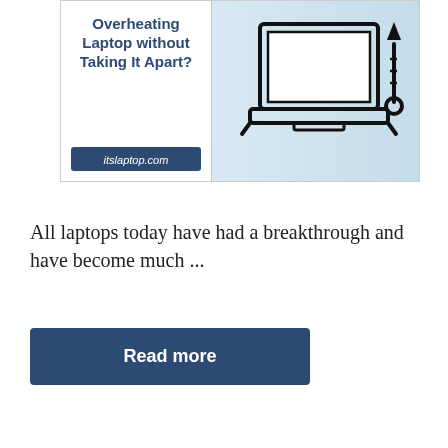[Figure (illustration): Banner advertisement for itslaptop.com showing 'Overheating Laptop without Taking It Apart?' text on the left with a laptop icon and thermometer illustration on a light blue background on the right.]
All laptops today have had a breakthrough and have become much ...
Read more